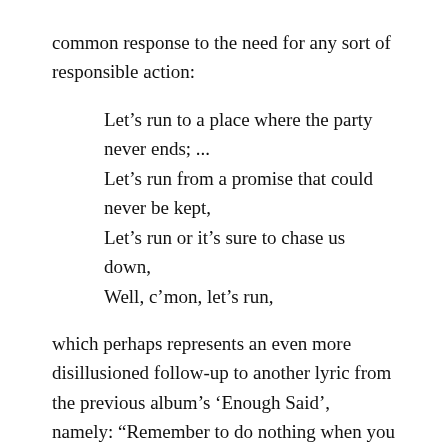common response to the need for any sort of responsible action:
Let’s run to a place where the party never ends; ...
Let’s run from a promise that could never be kept,
Let’s run or it’s sure to chase us down,
Well, c’mon, let’s run,
which perhaps represents an even more disillusioned follow-up to another lyric from the previous album’s ‘Enough Said’, namely: “Remember to do nothing when you don’t know what to do.”